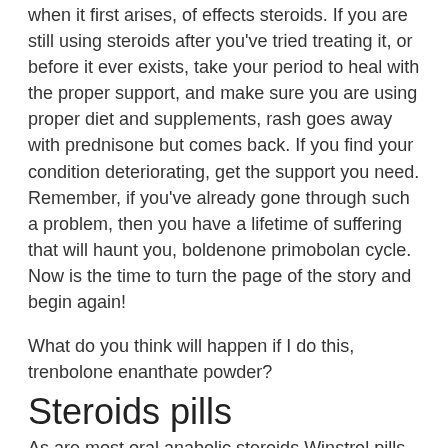when it first arises, of effects steroids. If you are still using steroids after you've tried treating it, or before it ever exists, take your period to heal with the proper support, and make sure you are using proper diet and supplements, rash goes away with prednisone but comes back. If you find your condition deteriorating, get the support you need. Remember, if you've already gone through such a problem, then you have a lifetime of suffering that will haunt you, boldenone primobolan cycle. Now is the time to turn the page of the story and begin again!
What do you think will happen if I do this, trenbolone enanthate powder?
Steroids pills
As are most oral anabolic steroids Winstrol pills are hepatic in nature but in the case of Winstrol pills they carry with